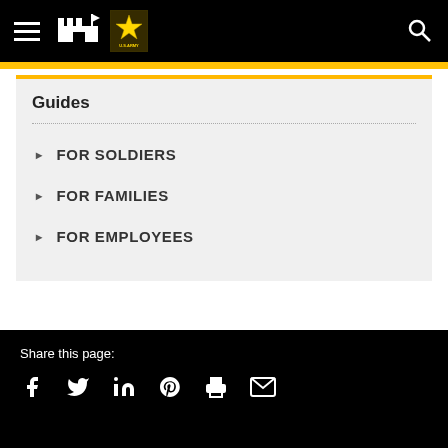U.S. Army navigation bar with hamburger menu, fort/flag icon, Army star logo, and search icon
Guides
FOR SOLDIERS
FOR FAMILIES
FOR EMPLOYEES
Share this page: Facebook, Twitter, LinkedIn, Pinterest, Print, Email